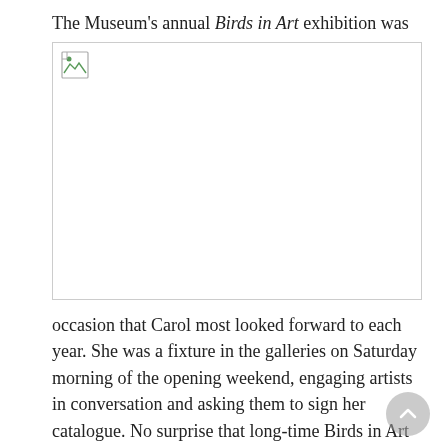The Museum's annual Birds in Art exhibition was perhaps the
[Figure (photo): A broken/missing image placeholder with a small broken image icon in the upper left corner, shown as a white rectangle with a thin border.]
occasion that Carol most looked forward to each year. She was a fixture in the galleries on Saturday morning of the opening weekend, engaging artists in conversation and asking them to sign her catalogue. No surprise that long-time Birds in Art participant, artist Paula Waterman, who is in residence at the